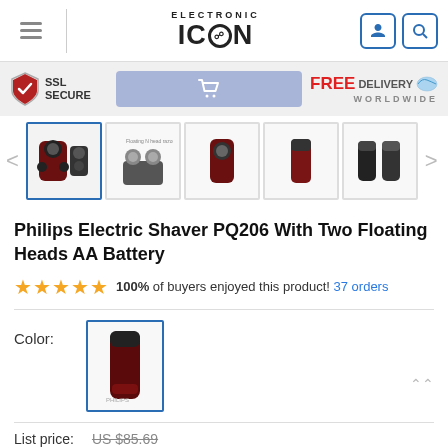[Figure (logo): Electronic Icon logo with hamburger menu on left, user and search icon buttons on right]
[Figure (infographic): Promo bar with SSL Secure badge, shopping cart button, and FREE Delivery Worldwide text]
[Figure (screenshot): Product image carousel showing 5 thumbnail images of Philips Electric Shaver PQ206 with left and right arrows]
Philips Electric Shaver PQ206 With Two Floating Heads AA Battery
100% of buyers enjoyed this product! 37 orders
Color:
[Figure (photo): Selected color thumbnail of the Philips shaver in dark maroon/black color]
List price: US $85.69